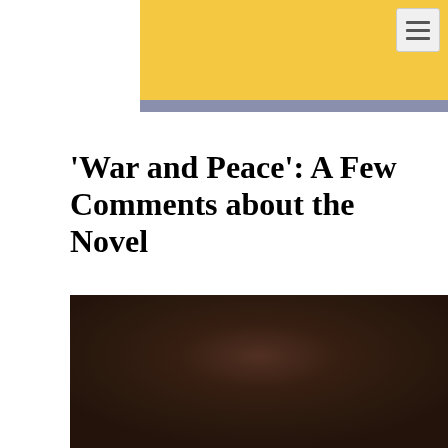'War and Peace': A Few Comments about the Novel
[Figure (photo): Dark brown blurred photo, likely the cover or related image of War and Peace book]